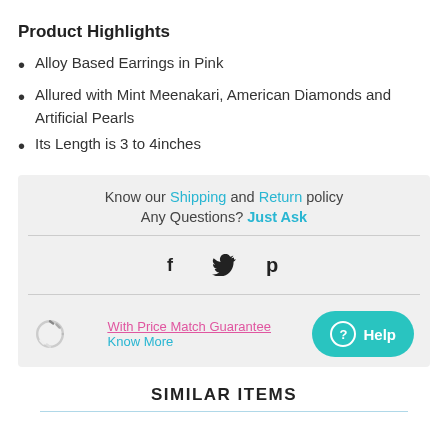Product Highlights
Alloy Based Earrings in Pink
Allured with Mint Meenakari, American Diamonds and Artificial Pearls
Its Length is 3 to 4inches
Know our Shipping and Return policy
Any Questions? Just Ask
[Figure (infographic): Social media share icons: Facebook (f), Twitter (bird), Pinterest (P)]
[Figure (infographic): Loading spinner icon next to 'With Price Match Guarantee Know More' link and a teal Help button]
SIMILAR ITEMS